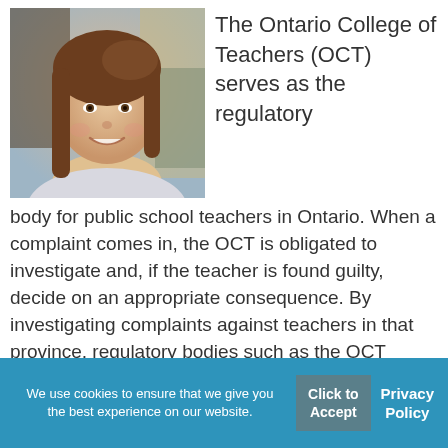[Figure (photo): Portrait photo of a young woman with long brown hair, smiling, indoors with a blurred background]
The Ontario College of Teachers (OCT) serves as the regulatory body for public school teachers in Ontario. When a complaint comes in, the OCT is obligated to investigate and, if the teacher is found guilty, decide on an appropriate consequence. By investigating complaints against teachers in that province, regulatory bodies such as the OCT play...
We use cookies to ensure that we give you the best experience on our website.
Click to Accept
Privacy Policy